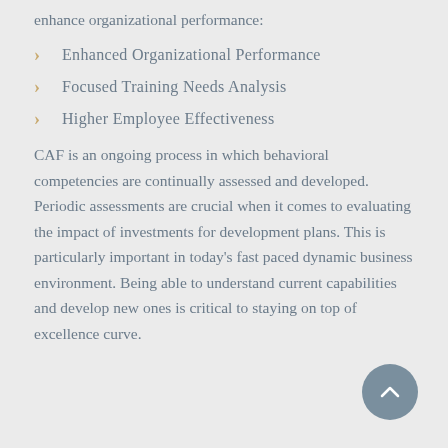enhance organizational performance:
Enhanced Organizational Performance
Focused Training Needs Analysis
Higher Employee Effectiveness
CAF is an ongoing process in which behavioral competencies are continually assessed and developed. Periodic assessments are crucial when it comes to evaluating the impact of investments for development plans. This is particularly important in today's fast paced dynamic business environment. Being able to understand current capabilities and develop new ones is critical to staying on top of excellence curve.